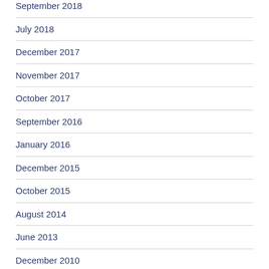September 2018
July 2018
December 2017
November 2017
October 2017
September 2016
January 2016
December 2015
October 2015
August 2014
June 2013
December 2010
October 2007